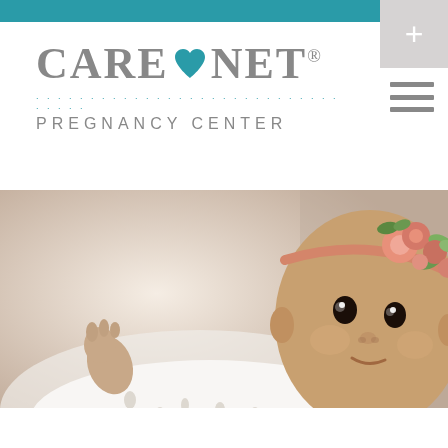[Figure (logo): Care Net Pregnancy Center logo with teal heart icon between CARE and NET text, dotted line beneath, and PREGNANCY CENTER subtitle]
[Figure (photo): A baby girl wearing a white eyelet dress and a floral headband with pink and green flowers, looking at the camera with a soft smile, photographed against a light neutral background]